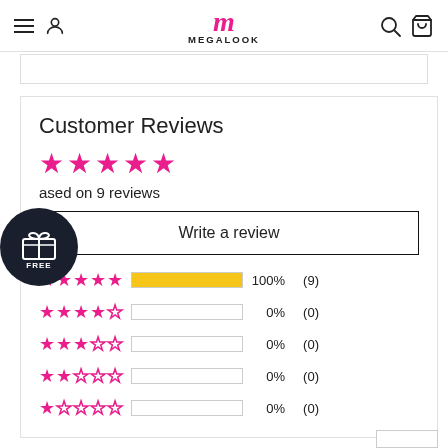MEGALOOK
Customer Reviews
Based on 9 reviews
Write a review
[Figure (bar-chart): Star rating distribution bar chart showing 100% 5-star reviews from 9 total]